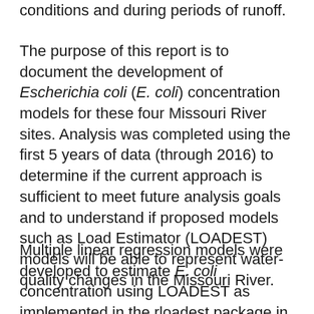conditions and during periods of runoff.
The purpose of this report is to document the development of Escherichia coli (E. coli) concentration models for these four Missouri River sites. Analysis was completed using the first 5 years of data (through 2016) to determine if the current approach is sufficient to meet future analysis goals and to understand if proposed models such as Load Estimator (LOADEST) models will be able to represent water-quality changes in the Missouri River.
Multiple linear regression models were developed to estimate E. coli concentration using LOADEST as implemented in the rloadest package in the R statistical software program. A set of explanatory variables, including streamflow and streamflow anomalies